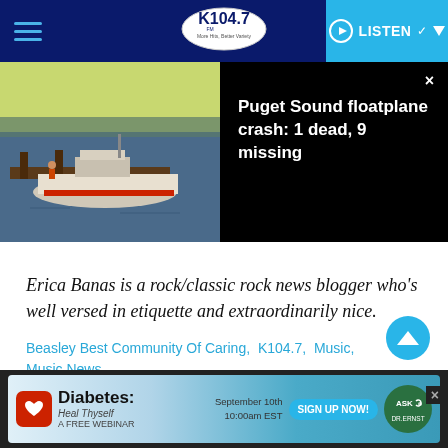[Figure (screenshot): K104.7 FM radio station website header with dark blue background, hamburger menu on left, K104.7 logo in center oval, and cyan LISTEN button on right]
[Figure (photo): News banner showing a coast guard or rescue boat docked at a pier over water with a yellow-sky background, next to black panel with headline text]
Puget Sound floatplane crash: 1 dead, 9 missing
Erica Banas is a rock/classic rock news blogger who's well versed in etiquette and extraordinarily nice.
Beasley Best Community Of Caring, K104.7, Music, Music News
TAGS   Stevie Nicks
[Figure (screenshot): Advertisement banner for 'Diabetes: Heal Thyself - A Free Webinar' on September 10th at 10:00am EST with Sign Up Now button and Ask Dr. Ernst branding]